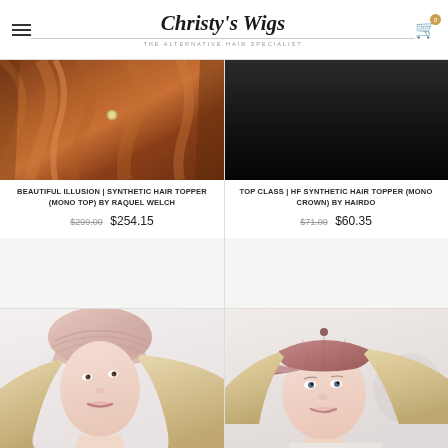Christy's Wigs — The Alternative Hair Specialist
[Figure (photo): Copper/rust colored satin fabric hair topper product photo]
BEAUTIFUL ILLUSION | SYNTHETIC HAIR TOPPER (MONO TOP) BY RAQUEL WELCH
$299.00  $254.15
[Figure (photo): Black fabric hair topper product photo (mono crown)]
TOP CLASS | HF SYNTHETIC HAIR TOPPER (MONO CROWN) BY HAIRDO
$71.00  $60.35
[Figure (photo): Blonde woman wearing pink beanie/head wrap, looking upward, light background]
[Figure (photo): Blonde woman wearing dusty rose/pink velvet baseball cap, facing slightly right, light background]